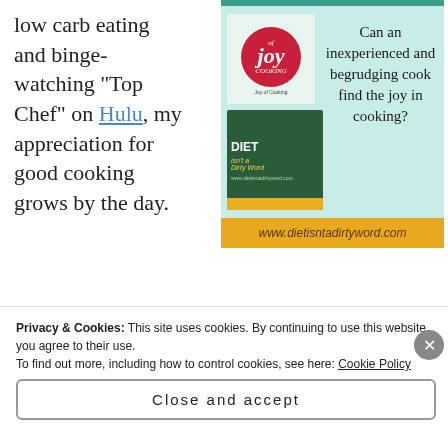low carb eating and binge-watching “Top Chef” on Hulu, my appreciation for good cooking grows by the day.
[Figure (illustration): Advertisement for dietisntadirtyword.com showing Joy of Cooking book and Diet book covers with text: Can an inexperienced and begrudging cook find the joy in cooking? URL: www.dietisntadirtyword.com]
I was so inspired that I went on Amazon and purchased the beloved bible of
Privacy & Cookies: This site uses cookies. By continuing to use this website, you agree to their use.
To find out more, including how to control cookies, see here: Cookie Policy
Close and accept